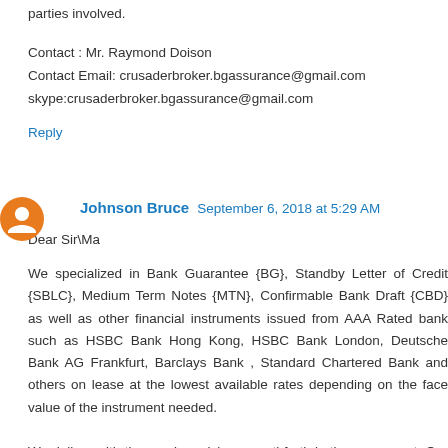parties involved.
Contact : Mr. Raymond Doison
Contact Email: crusaderbroker.bgassurance@gmail.com
skype:crusaderbroker.bgassurance@gmail.com
Reply
Johnson Bruce  September 6, 2018 at 5:29 AM
Dear Sir\Ma
We specialized in Bank Guarantee {BG}, Standby Letter of Credit {SBLC}, Medium Term Notes {MTN}, Confirmable Bank Draft {CBD} as well as other financial instruments issued from AAA Rated bank such as HSBC Bank Hong Kong, HSBC Bank London, Deutsche Bank AG Frankfurt, Barclays Bank , Standard Chartered Bank and others on lease at the lowest available rates depending on the face value of the instrument needed.
We deliver with time and precision as sethforth in the agreement. Our terms and Conditions are reasonable